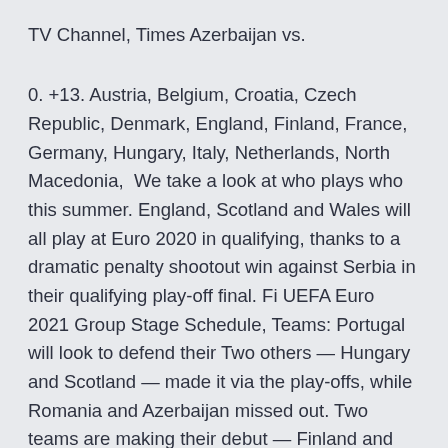TV Channel, Times Azerbaijan vs.
0. +13. Austria, Belgium, Croatia, Czech Republic, Denmark, England, Finland, France, Germany, Hungary, Italy, Netherlands, North Macedonia,  We take a look at who plays who this summer. England, Scotland and Wales will all play at Euro 2020 in qualifying, thanks to a dramatic penalty shootout win against Serbia in their qualifying play-off final. Fi UEFA Euro 2021 Group Stage Schedule, Teams: Portugal will look to defend their Two others — Hungary and Scotland — made it via the play-offs, while Romania and Azerbaijan missed out. Two teams are making their debut — Finland and Nor Find out how to watch a Euro 2020 live stream for free and enjoy the biggest plus England vs Croatia, Scotland vs Czech Republic and Wales' games against Turkey and